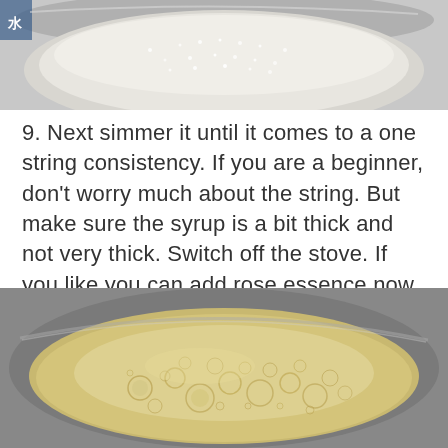[Figure (photo): Top-down view of white granulated sugar in a silver/stainless steel pan, partially cropped at top of page]
9. Next simmer it until it comes to a one string consistency. If you are a beginner, don't worry much about the string. But make sure the syrup is a bit thick and not very thick. Switch off the stove. If you like you can add rose essence now.
[Figure (photo): Top-down view of bubbling sugar syrup simmering in a stainless steel pan, showing small bubbles across the surface]